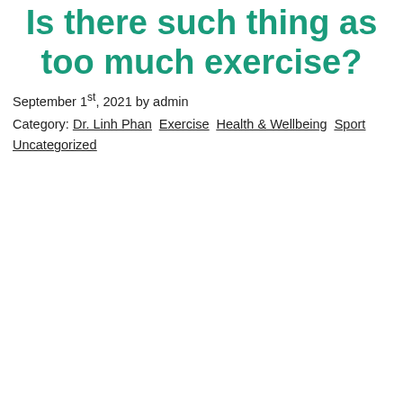Is there such thing as too much exercise?
September 1st, 2021 by admin
Category: Dr. Linh Phan  Exercise  Health & Wellbeing  Sport Uncategorized